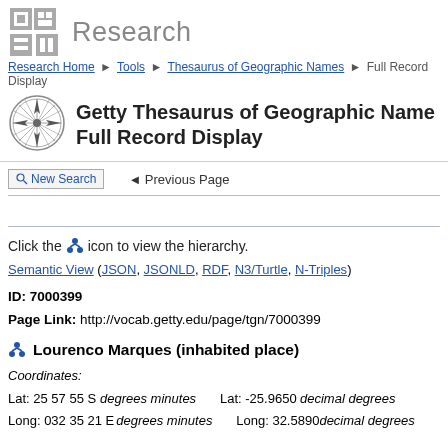Research
Research Home ▶ Tools ▶ Thesaurus of Geographic Names ▶ Full Record Display
Getty Thesaurus of Geographic Names Full Record Display
🔍 New Search   ◄ Previous Page
Click the icon to view the hierarchy.
Semantic View (JSON, JSONLD, RDF, N3/Turtle, N-Triples)
ID: 7000399
Page Link: http://vocab.getty.edu/page/tgn/7000399
Lourenco Marques (inhabited place)
Coordinates:
Lat: 25 57 55 S  degrees minutes    Lat: -25.9650  decimal degrees
Long: 032 35 21 E  degrees minutes  Long: 32.5890  decimal degrees